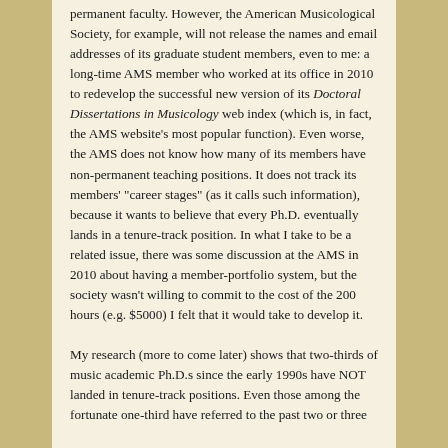permanent faculty. However, the American Musicological Society, for example, will not release the names and email addresses of its graduate student members, even to me: a long-time AMS member who worked at its office in 2010 to redevelop the successful new version of its Doctoral Dissertations in Musicology web index (which is, in fact, the AMS website's most popular function). Even worse, the AMS does not know how many of its members have non-permanent teaching positions. It does not track its members' "career stages" (as it calls such information), because it wants to believe that every Ph.D. eventually lands in a tenure-track position. In what I take to be a related issue, there was some discussion at the AMS in 2010 about having a member-portfolio system, but the society wasn't willing to commit to the cost of the 200 hours (e.g. $5000) I felt that it would take to develop it.
My research (more to come later) shows that two-thirds of music academic Ph.D.s since the early 1990s have NOT landed in tenure-track positions. Even those among the fortunate one-third have referred to the past two or three